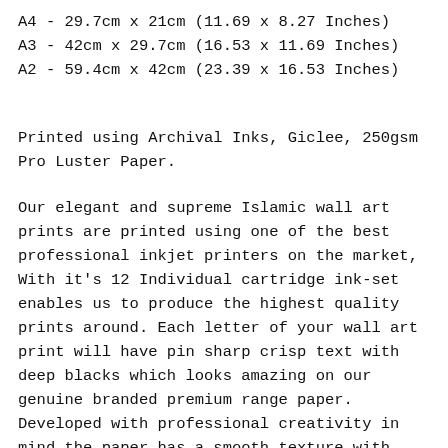A4 - 29.7cm x 21cm (11.69 x 8.27 Inches)
A3 - 42cm x 29.7cm (16.53 x 11.69 Inches)
A2 - 59.4cm x 42cm (23.39 x 16.53 Inches)
Printed using Archival Inks, Giclee, 250gsm Pro Luster Paper.
Our elegant and supreme Islamic wall art prints are printed using one of the best professional inkjet printers on the market, With it's 12 Individual cartridge ink-set enables us to produce the highest quality prints around. Each letter of your wall art print will have pin sharp crisp text with deep blacks which looks amazing on our genuine branded premium range paper. Developed with professional creativity in mind the paper has a smooth texture with warm white tone for those extra special prints. This heavyweight paper has a high-quality rigid feel with excellent flatness spectacular prints every time with both LUCIA pigment based inks and dye based